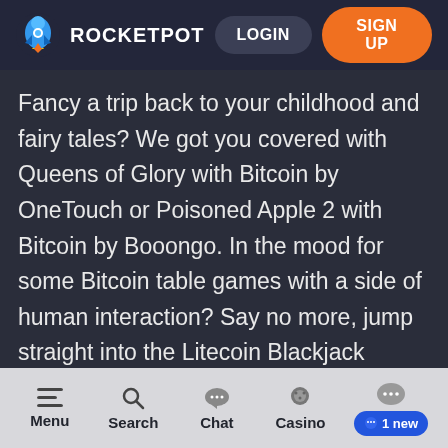ROCKETPOT  LOGIN  SIGN UP
Fancy a trip back to your childhood and fairy tales? We got you covered with Queens of Glory with Bitcoin by OneTouch or Poisoned Apple 2 with Bitcoin by Booongo. In the mood for some Bitcoin table games with a side of human interaction? Say no more, jump straight into the Litecoin Blackjack games that Evolution Gaming has
Menu  Search  Chat  Casino  1 new